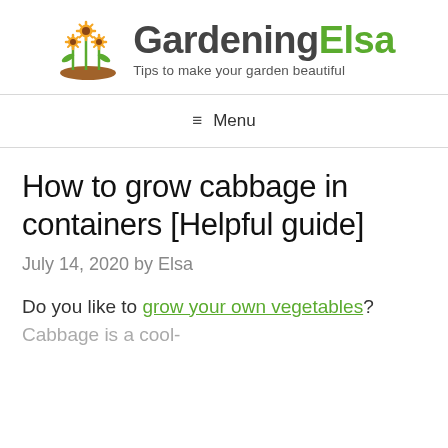[Figure (logo): GardeningElsa logo with sunflowers and tagline 'Tips to make your garden beautiful']
≡  Menu
How to grow cabbage in containers [Helpful guide]
July 14, 2020 by Elsa
Do you like to grow your own vegetables? Cabbage is a cool-